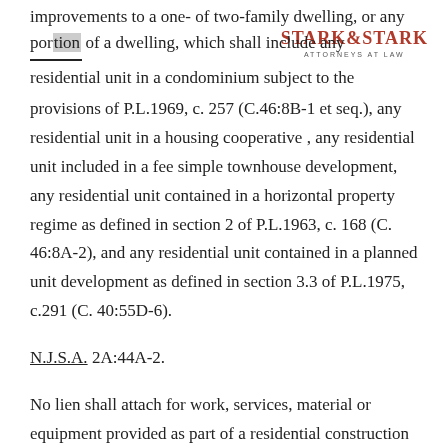STARK & STARK ATTORNEYS AT LAW
improvements to a one- of two-family dwelling, or any portion of a dwelling, which shall include any residential unit in a condominium subject to the provisions of P.L.1969, c. 257 (C.46:8B-1 et seq.), any residential unit in a housing cooperative , any residential unit included in a fee simple townhouse development, any residential unit contained in a horizontal property regime as defined in section 2 of P.L.1963, c. 168 (C. 46:8A-2), and any residential unit contained in a planned unit development as defined in section 3.3 of P.L.1975, c.291 (C. 40:55D-6).
N.J.S.A. 2A:44A-2.
No lien shall attach for work, services, material or equipment provided as part of a residential construction contract unless the provider strictly